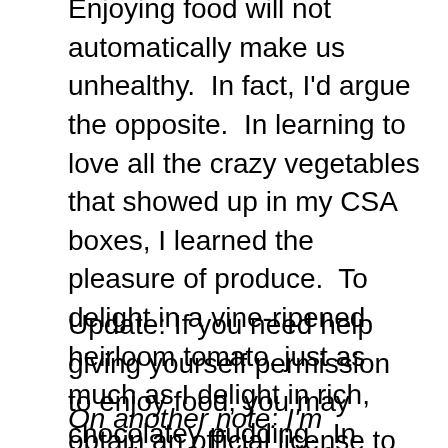It is not a sin to enjoy food. To me, it's a sin not to. Enjoying food will not automatically make us unhealthy. In fact, I'd argue the opposite. In learning to love all the crazy vegetables that showed up in my CSA boxes, I learned the pleasure of produce. To delight in a vine-ripened heirloom tomato, just as much as I delight in rich, chocolatey pudding. In discovering the real pleasure of all foods, I've found that that supposedly icky healthy stuff, those fruits and vegetables, are also sources of rich delights. I taste and see that the Lord is good. Because God is. We are absolutely blessed with the crazy complicated system by which we taste and smell and digest and live.
Update: If you need help giving yourself permission to enjoy food, you may obtain an official license to enjoy tasty food here.
On another note: I'm heading out of town for a